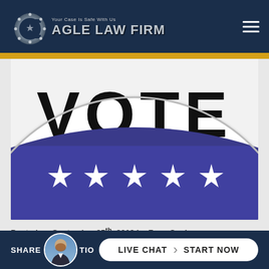The Cagle Law Firm — Your Case Is Safe With Us
[Figure (photo): Close-up of a round VOTE button/pin badge with bold black letters 'VOTE' on a white upper half and a purple lower half with five white stars]
Posted on September 25th, 2018 by Zane Cagle
SHARE | LIVE CHAT › START NOW